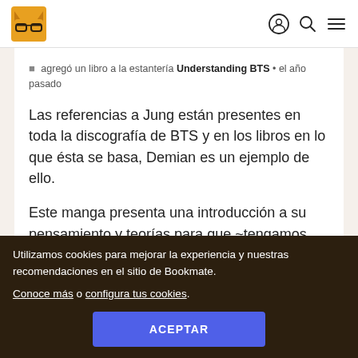[Figure (logo): Bookmate logo: orange/brown cat with glasses]
agregó un libro a la estantería Understanding BTS • el año pasado
Las referencias a Jung están presentes en toda la discografía de BTS y en los libros en lo que ésta se basa, Demian es un ejemplo de ello.
Este manga presenta una introducción a su pensamiento y teorías para que ~tengamos una idea de qué está pasando~, antes de leer sus trabajos más complejos. 🙂
Utilizamos cookies para mejorar la experiencia y nuestras recomendaciones en el sitio de Bookmate. Conoce más o configura tus cookies.